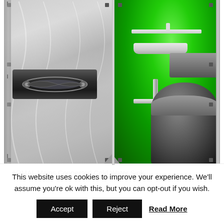[Figure (photo): Interior view of an ARMAL portable toilet unit showing two sides: left side shows the grey exterior door panel with a handle, right side shows the green interior with a mains-connected cold water sink (basin with white pipes) and a dark grey toilet bowl and tank against a bright green background.]
ARMAL Mains Connected Cold Water Sink
This website uses cookies to improve your experience. We'll assume you're ok with this, but you can opt-out if you wish.
Accept  Reject  Read More